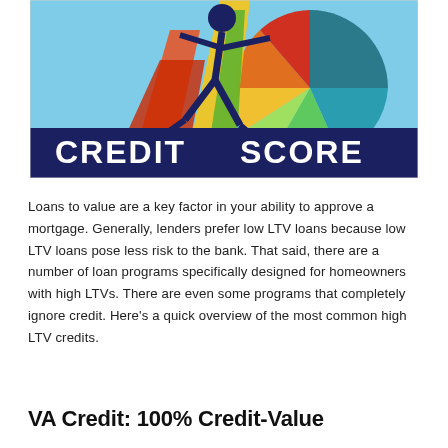[Figure (illustration): Colorful credit score illustration showing a stick figure person pushing/pulling against a large pie chart gauge. The pie chart shows segments in teal, green, and other colors representing credit score ranges. A dark blue banner at the bottom reads 'CREDIT SCORE' in large white bold letters. Background is light blue.]
Loans to value are a key factor in your ability to approve a mortgage. Generally, lenders prefer low LTV loans because low LTV loans pose less risk to the bank. That said, there are a number of loan programs specifically designed for homeowners with high LTVs. There are even some programs that completely ignore credit. Here’s a quick overview of the most common high LTV credits.
VA Credit: 100% Credit-Value